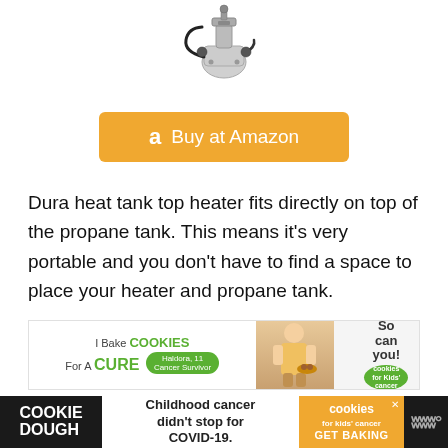[Figure (photo): Product image of a Dura heat tank top heater - a metal device with hoses and clamps]
[Figure (other): Orange Buy at Amazon button with Amazon 'a' logo icon]
Dura heat tank top heater fits directly on top of the propane tank. This means it's very portable and you don't have to find a space to place your heater and propane tank.
[Figure (other): Advertisement banner: I Bake COOKIES For A CURE - Haldora, 11 Cancer Survivor - So can you! - cookies for kids cancer]
[Figure (other): Bottom ad banner: COOKIE DOUGH - Childhood cancer didn't stop for COVID-19. - cookies for kids cancer - GET BAKING]